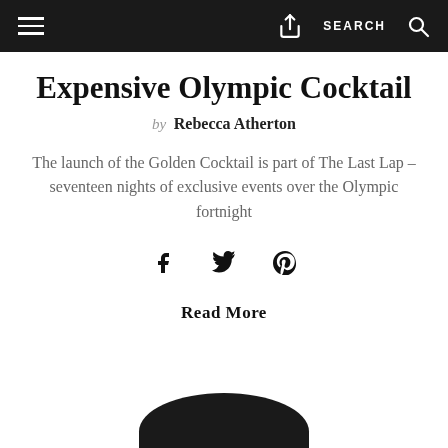≡  [share icon]  SEARCH  [search icon]
Expensive Olympic Cocktail
by Rebecca Atherton
The launch of the Golden Cocktail is part of The Last Lap – seventeen nights of exclusive events over the Olympic fortnight
[Figure (other): Social sharing icons: Facebook, Twitter, Pinterest]
Read More
[Figure (photo): Partial image of a dark cocktail glass or bowl visible at the bottom of the page]